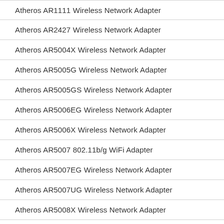Atheros AR1111 Wireless Network Adapter
Atheros AR2427 Wireless Network Adapter
Atheros AR5004X Wireless Network Adapter
Atheros AR5005G Wireless Network Adapter
Atheros AR5005GS Wireless Network Adapter
Atheros AR5006EG Wireless Network Adapter
Atheros AR5006X Wireless Network Adapter
Atheros AR5007 802.11b/g WiFi Adapter
Atheros AR5007EG Wireless Network Adapter
Atheros AR5007UG Wireless Network Adapter
Atheros AR5008X Wireless Network Adapter